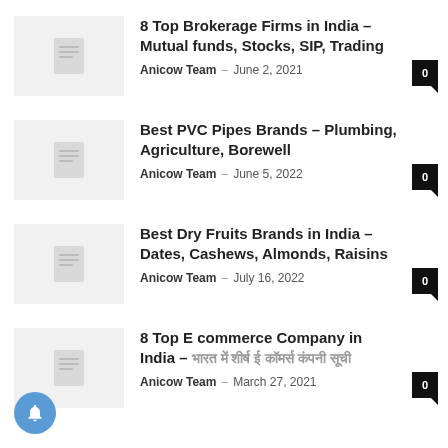8 Top Brokerage Firms in India – Mutual funds, Stocks, SIP, Trading
Anicow Team – June 2, 2021
Best PVC Pipes Brands – Plumbing, Agriculture, Borewell
Anicow Team – June 5, 2022
Best Dry Fruits Brands in India – Dates, Cashews, Almonds, Raisins
Anicow Team – July 16, 2022
8 Top E commerce Company in India – [Hindi text]
Anicow Team – March 27, 2021